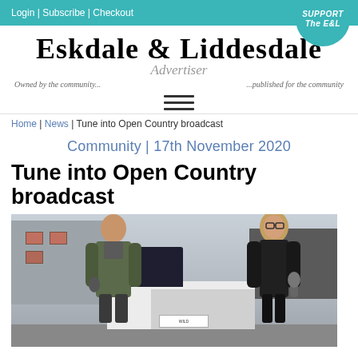Login | Subscribe | Checkout
Eskdale & Liddesdale Advertiser
Owned by the community... ...published for the community
[Figure (other): Hamburger menu icon with three horizontal lines]
Home | News | Tune into Open Country broadcast
Community | 17th November 2020
Tune into Open Country broadcast
[Figure (photo): Two people standing outside near a white pickup truck, a man on the left holding a microphone and a woman on the right holding a microphone, with buildings in the background]